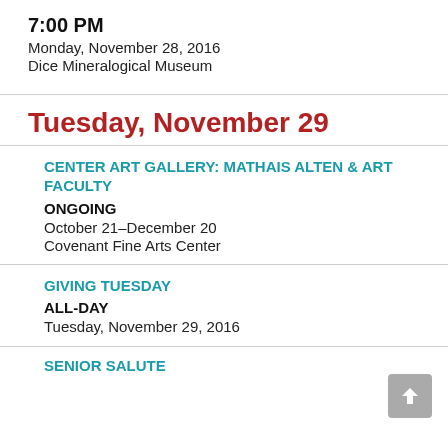7:00 PM
Monday, November 28, 2016
Dice Mineralogical Museum
Tuesday, November 29
CENTER ART GALLERY: MATHAIS ALTEN & ART FACULTY
ONGOING
October 21–December 20
Covenant Fine Arts Center
GIVING TUESDAY
ALL-DAY
Tuesday, November 29, 2016
SENIOR SALUTE